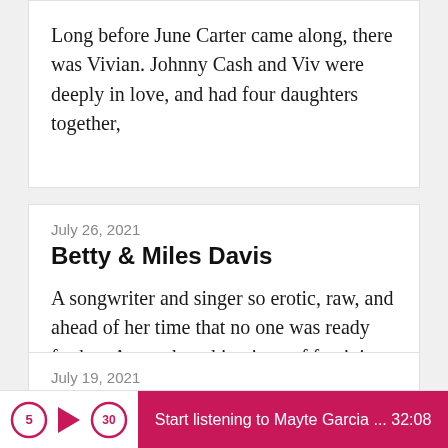Long before June Carter came along, there was Vivian. Johnny Cash and Viv were deeply in love, and had four daughters together,
July 26, 2021
Betty & Miles Davis
A songwriter and singer so erotic, raw, and ahead of her time that no one was ready for her. An earthquaking icon of feminism and
July 19, 2021
Norma Tanega & Dusty
Start listening to Mayte Garcia ... 32:08